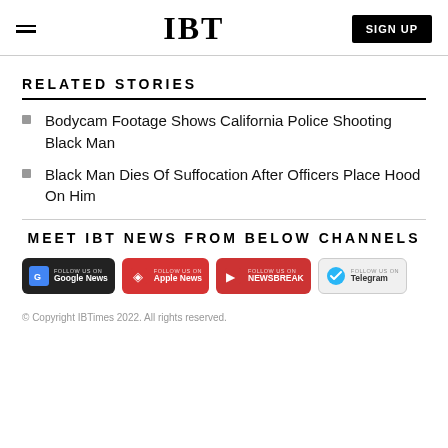IBT
RELATED STORIES
Bodycam Footage Shows California Police Shooting Black Man
Black Man Dies Of Suffocation After Officers Place Hood On Him
MEET IBT NEWS FROM BELOW CHANNELS
Google News, Apple News, Newsbreak, Telegram
© Copyright IBTimes 2022. All rights reserved.